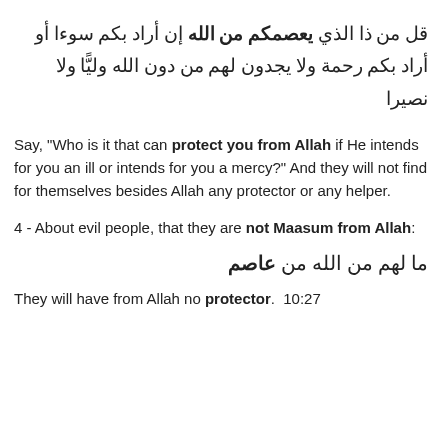قل من ذا الذي يعصمكم من الله إن أراد بكم سوءا أو أراد بكم رحمة ولا يجدون لهم من دون الله وليًّا ولا نصيرا
Say, "Who is it that can protect you from Allah if He intends for you an ill or intends for you a mercy?" And they will not find for themselves besides Allah any protector or any helper.
4 - About evil people, that they are not Maasum from Allah:
ما لهم من الله من عاصم
They will have from Allah no protector.  10:27